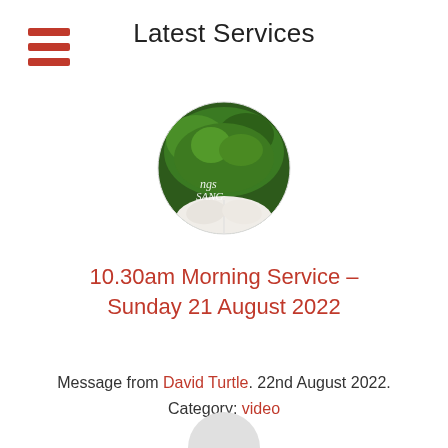Latest Services
[Figure (photo): Circular thumbnail photo showing green moss with a partially visible open book and handwritten text reading 'ngs SANG']
10.30am Morning Service – Sunday 21 August 2022
Message from David Turtle. 22nd August 2022. Category: video